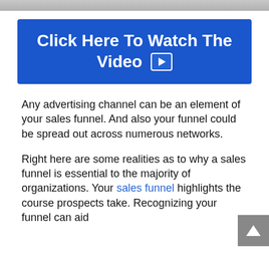[Figure (photo): Top cropped image strip showing partial image of a person or scene, displayed as a gray banner at the very top of the page.]
[Figure (other): Blue button with white bold text reading 'Click Here To Watch The Video' with a play icon button on the right side of 'Video'.]
Any advertising channel can be an element of your sales funnel. And also your funnel could be spread out across numerous networks.
Right here are some realities as to why a sales funnel is essential to the majority of organizations. Your sales funnel highlights the course prospects take. Recognizing your funnel can aid